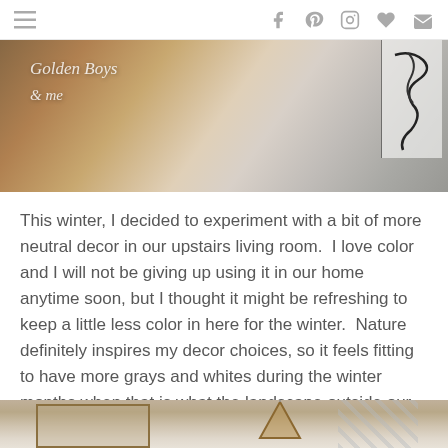navigation and social icons header
[Figure (photo): Decorative blog header photo showing a wooden surface with cursive script 'Golden Boys & me' text overlay, and a white framed piece with abstract black line art]
This winter, I decided to experiment with a bit of more neutral decor in our upstairs living room. I love color and I will not be giving up using it in our home anytime soon, but I thought it might be refreshing to keep a little less color in here for the winter. Nature definitely inspires my decor choices, so it feels fitting to have more grays and whites during the winter months when that is what the landscape outside our window looks like.
[Figure (photo): Interior living room photo showing a geometric pendant light fixture, framed photos/artwork, patterned gray and white curtains, and a white lamp shade]